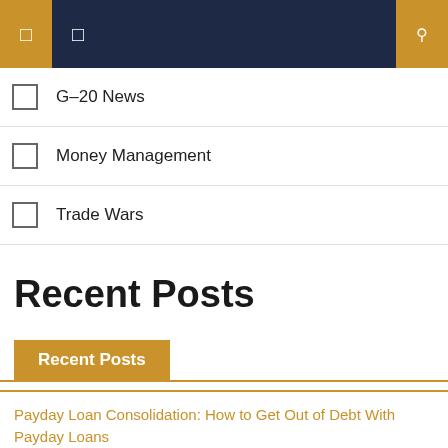Navigation bar with menu icons and search
G-20 News
Money Management
Trade Wars
Recent Posts
Recent Posts
Payday Loan Consolidation: How to Get Out of Debt With Payday Loans
Poor credit 24/7 in 2021
Returning to Structuralist Macroeconomics to Unleash Indian Growth